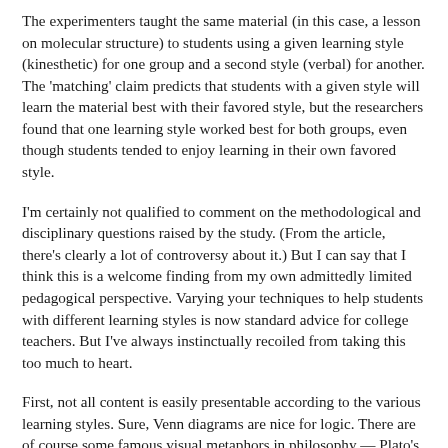The experimenters taught the same material (in this case, a lesson on molecular structure) to students using a given learning style (kinesthetic) for one group and a second style (verbal) for another. The 'matching' claim predicts that students with a given style will learn the material best with their favored style, but the researchers found that one learning style worked best for both groups, even though students tended to enjoy learning in their own favored style.
I'm certainly not qualified to comment on the methodological and disciplinary questions raised by the study. (From the article, there's clearly a lot of controversy about it.) But I can say that I think this is a welcome finding from my own admittedly limited pedagogical perspective. Varying your techniques to help students with different learning styles is now standard advice for college teachers. But I've always instinctually recoiled from taking this too much to heart.
First, not all content is easily presentable according to the various learning styles. Sure, Venn diagrams are nice for logic. There are of course some famous visual metaphors in philosophy — Plato's cave, Hume's billiard balls, the ship of